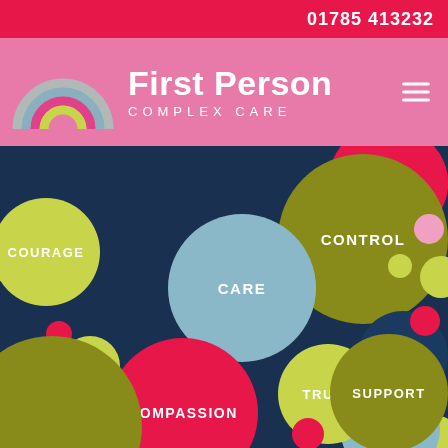01785 413232
[Figure (logo): First Person Complex Care logo with rainbow icon and brand name]
[Figure (infographic): Colorful overlapping circles on dark navy background with values: HONEST, COURAGE, CONTROL, CARE, LISTEN, TRUST, SUPPORT, COMPASSION]